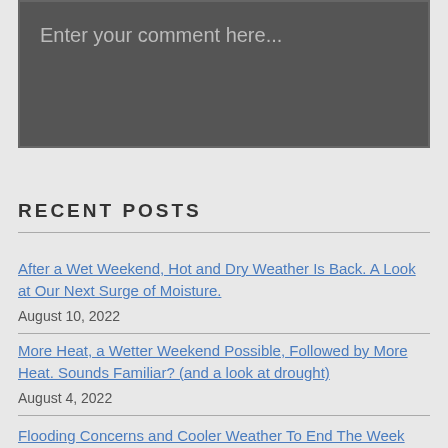Enter your comment here...
RECENT POSTS
After a Wet Weekend, Hot and Dry Weather Is Back. A Look at Our Next Surge of Moisture.
August 10, 2022
More Heat, a Wetter Weekend Possible, Followed by More Heat. Sounds Familiar? (and a look at drought)
August 4, 2022
Flooding Concerns and Cooler Weather To End The Week With Heat Building Back In Later